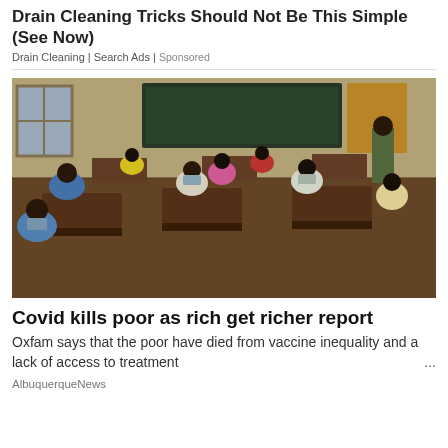Drain Cleaning Tricks Should Not Be This Simple (See Now)
Drain Cleaning | Search Ads | Sponsored
[Figure (photo): People sitting at wooden school desks in a hall, several wearing face masks, with a soldier in camouflage uniform standing in the background near a blackboard]
Covid kills poor as rich get richer report
Oxfam says that the poor have died from vaccine inequality and a lack of access to treatment
AlbuquerqueNews